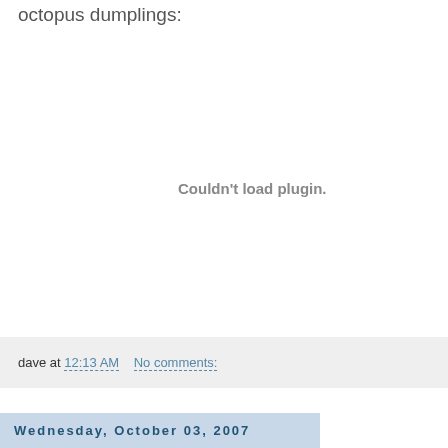octopus dumplings:
[Figure (other): Embedded plugin area showing 'Couldn't load plugin.' error message in gray bold text]
dave at 12:13 AM    No comments:
Wednesday, October 03, 2007